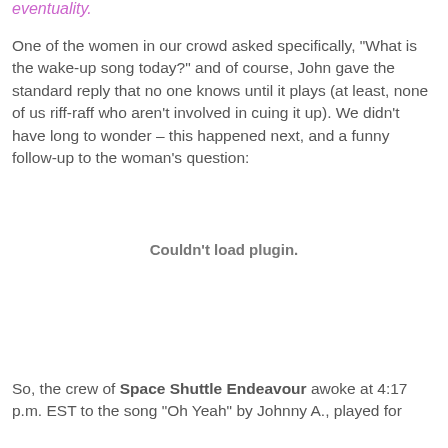eventuality.
One of the women in our crowd asked specifically, "What is the wake-up song today?" and of course, John gave the standard reply that no one knows until it plays (at least, none of us riff-raff who aren't involved in cuing it up). We didn't have long to wonder – this happened next, and a funny follow-up to the woman's question:
[Figure (other): Couldn't load plugin.]
So, the crew of Space Shuttle Endeavour awoke at 4:17 p.m. EST to the song "Oh Yeah" by Johnny A., played for